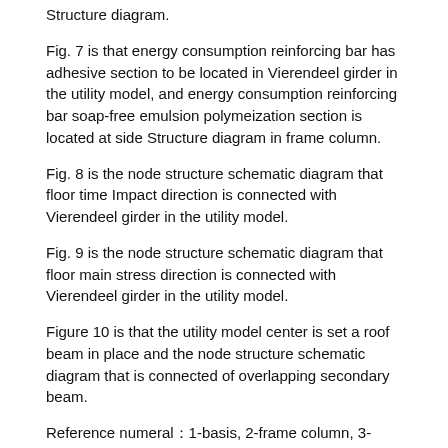Structure diagram.
Fig. 7 is that energy consumption reinforcing bar has adhesive section to be located in Vierendeel girder in the utility model, and energy consumption reinforcing bar soap-free emulsion polymeization section is located at side Structure diagram in frame column.
Fig. 8 is the node structure schematic diagram that floor time Impact direction is connected with Vierendeel girder in the utility model.
Fig. 9 is the node structure schematic diagram that floor main stress direction is connected with Vierendeel girder in the utility model.
Figure 10 is that the utility model center is set a roof beam in place and the node structure schematic diagram that is connected of overlapping secondary beam.
Reference numeral：1-basis, 2-frame column, 3-Vierendeel girder, 3.1-precast concrete beam, 3.2-girder coagulation Native overlapping layers, 4-floor, 4.1-precast hollow slab, 4.2-floorslab concrete overlapping layers, 5-connection reinforcing bar, 5.1-connection Reinforcing bar has